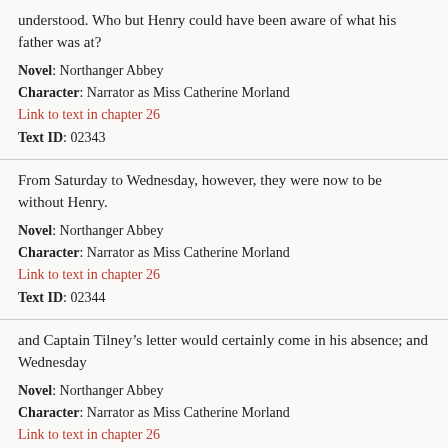understood. Who but Henry could have been aware of what his father was at?
Novel: Northanger Abbey
Character: Narrator as Miss Catherine Morland
Link to text in chapter 26
Text ID: 02343
From Saturday to Wednesday, however, they were now to be without Henry.
Novel: Northanger Abbey
Character: Narrator as Miss Catherine Morland
Link to text in chapter 26
Text ID: 02344
and Captain Tilney’s letter would certainly come in his absence; and Wednesday
Novel: Northanger Abbey
Character: Narrator as Miss Catherine Morland
Link to text in chapter 26
Text ID: 02346
would be wet,